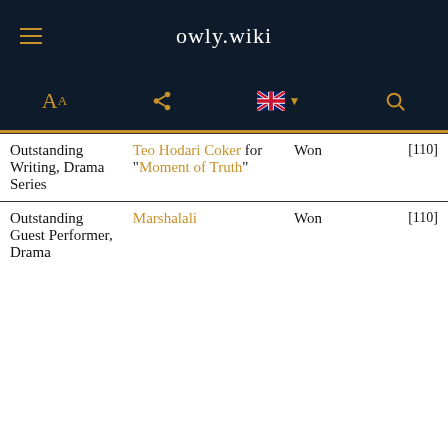owly.wiki
| Category | Nominee | Result | Ref |
| --- | --- | --- | --- |
| Outstanding Writing, Drama Series | Teo Hodari Coker for "Moment of Truth" | Won | [110] |
| Outstanding Guest Performer, Drama | Marshala... | Won | [110] |